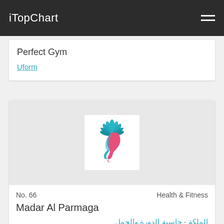iTopChart
Perfect Gym
Uform
[Figure (logo): Woman face profile with teal leaf crown and pink hair, stylized app logo for Madar Al Parmaga]
No. 66    Health & Fitness
Madar Al Parmaga
الملكة - حاسبة الدورة والحمل